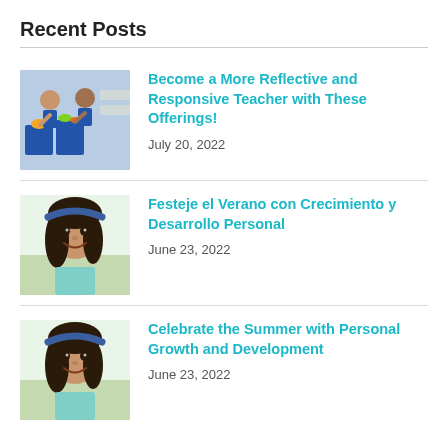Recent Posts
[Figure (photo): Children in blue uniforms doing a hands-on activity with colorful bins and materials]
Become a More Reflective and Responsive Teacher with These Offerings!
July 20, 2022
[Figure (photo): Smiling young girl with dark hair and blue headband wearing a light blue top]
Festeje el Verano con Crecimiento y Desarrollo Personal
June 23, 2022
[Figure (photo): Smiling young girl with dark hair and blue headband wearing a light blue top]
Celebrate the Summer with Personal Growth and Development
June 23, 2022